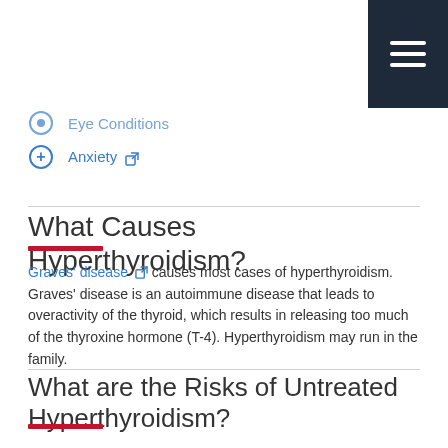Eye Conditions
Anxiety
What Causes Hyperthyroidism?
Graves' disease causes most cases of hyperthyroidism. Graves' disease is an autoimmune disease that leads to overactivity of the thyroid, which results in releasing too much of the thyroxine hormone (T-4). Hyperthyroidism may run in the family.
What are the Risks of Untreated Hyperthyroidism?
If left untreated, hyperthyroidism can lead to...